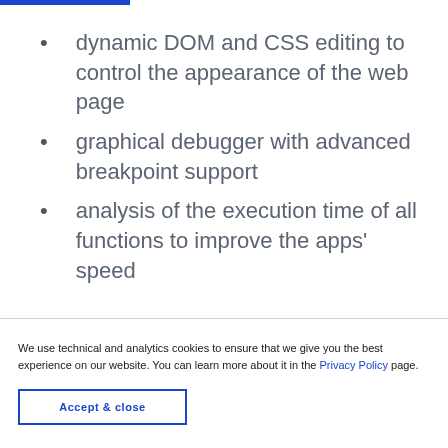dynamic DOM and CSS editing to control the appearance of the web page
graphical debugger with advanced breakpoint support
analysis of the execution time of all functions to improve the apps' speed
We use technical and analytics cookies to ensure that we give you the best experience on our website. You can learn more about it in the Privacy Policy page.
Accept & close